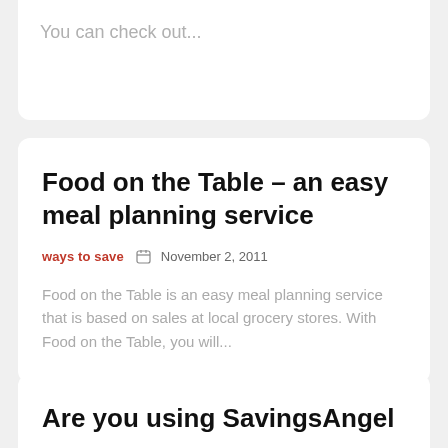You can check out...
Food on the Table – an easy meal planning service
ways to save   November 2, 2011
Food on the Table is an easy meal planning service that is based on sales at local grocery stores. With Food on the Table, you will...
Are you using SavingsAngel to save on your groceries?